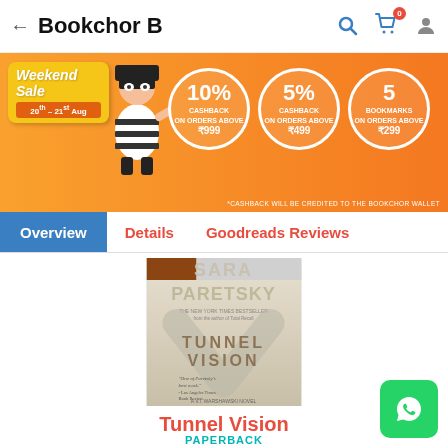← Bookchor B
[Figure (infographic): Weekend Sale banner: 20-21 Aug, 10% cashback on orders above ₹999, 5% cashback on orders above ₹499, 5 bookmarks on orders above ₹299. Cashback will be credited to the Bookchor wallet.]
Overview | Details | Goodreads Reviews
[Figure (photo): Book cover for Tunnel Vision by Sara Paretsky (A V.I. Warshawski Novel)]
Tunnel Vision
PAPERBACK
Sara Paretsky